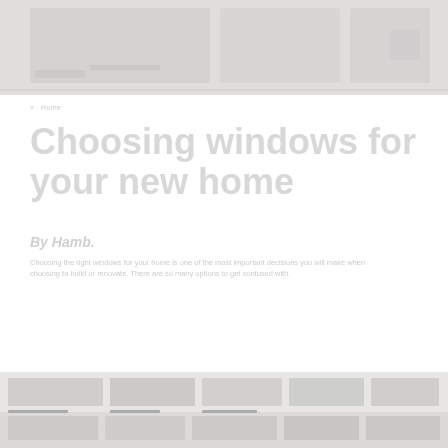[Figure (screenshot): Faded/washed out header banner image showing a house or building related to windows, very light grey tones]
≡  Home
Choosing windows for your new home
By Hamb.
Choosing the right windows for your home is one of the most important decisions you will make when
choosing to build or renovate. There are so many options to get confused with.
[Figure (screenshot): Faded/washed out footer banner image showing related articles or image strips at bottom of page]